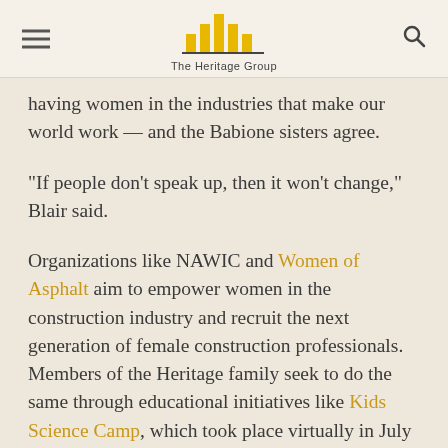The Heritage Group
having women in the industries that make our world work — and the Babione sisters agree.
“If people don’t speak up, then it won’t change,” Blair said.
Organizations like NAWIC and Women of Asphalt aim to empower women in the construction industry and recruit the next generation of female construction professionals. Members of the Heritage family seek to do the same through educational initiatives like Kids Science Camp, which took place virtually in July 2021.